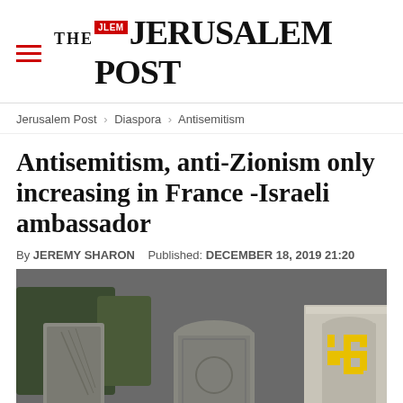THE JERUSALEM POST
Jerusalem Post > Diaspora > Antisemitism
Antisemitism, anti-Zionism only increasing in France -Israeli ambassador
By JEREMY SHARON   Published: DECEMBER 18, 2019 21:20
[Figure (photo): Photograph of a Jewish cemetery with old gravestones; one stone or wall on the right side has a yellow swastika painted on it.]
Advertisement